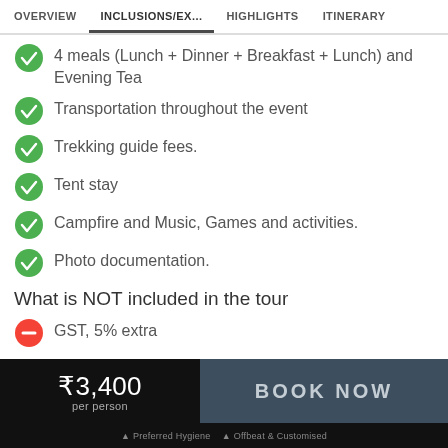OVERVIEW | INCLUSIONS/EX... | HIGHLIGHTS | ITINERARY
4 meals (Lunch + Dinner + Breakfast + Lunch) and Evening Tea
Transportation throughout the event
Trekking guide fees.
Tent stay
Campfire and Music, Games and activities.
Photo documentation.
What is NOT included in the tour
GST, 5% extra
₹3,400 per person
BOOK NOW